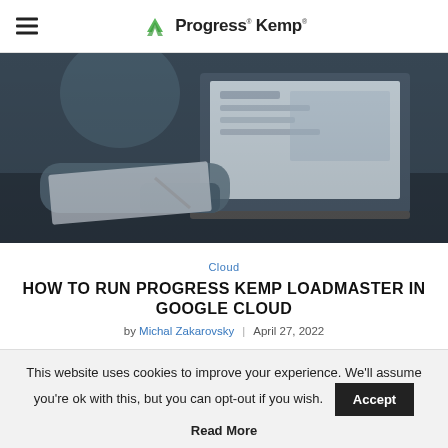Progress Kemp
[Figure (photo): Person in blue plaid shirt working at a desk with a laptop, writing on paper, dark moody office setting]
Cloud
HOW TO RUN PROGRESS KEMP LOADMASTER IN GOOGLE CLOUD
by Michal Zakarovsky | April 27, 2022
This website uses cookies to improve your experience. We'll assume you're ok with this, but you can opt-out if you wish.
Accept
Read More